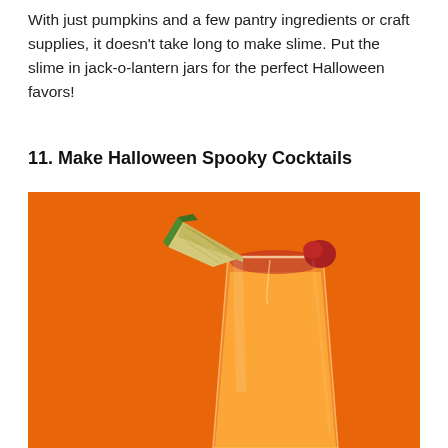With just pumpkins and a few pantry ingredients or craft supplies, it doesn't take long to make slime. Put the slime in jack-o-lantern jars for the perfect Halloween favors!
11. Make Halloween Spooky Cocktails
[Figure (photo): A Halloween spooky cocktail in a tall glass with orange/yellow liquid, garnished with a pineapple slice and what appears to be a cherry or red garnish on the rim, set against a bright orange background.]